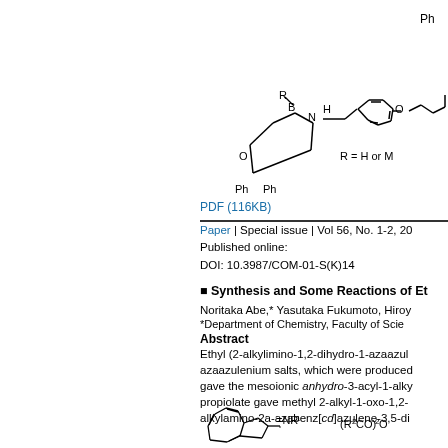[Figure (illustration): Chemical structure diagram showing a boron-containing heterocyclic compound with Ph groups and R substituents, with R = H or M notation, and a separate aromatic compound with ether linkage]
PDF (116KB)
Paper | Special issue | Vol 56, No. 1-2, 20
Published online:
DOI: 10.3987/COM-01-S(K)14
■ Synthesis and Some Reactions of Et
Noritaka Abe,* Yasutaka Fukumoto, Hiroy
*Department of Chemistry, Faculty of Scie
Abstract
Ethyl (2-alkylimino-1,2-dihydro-1-azaazul azaazulenium salts, which were produced gave the mesoionic anhydro-3-acyl-1-alky propiolate gave methyl 2-alkyl-1-oxo-1,2- alkylamino-2a-azabenz[cd]azulene-3,5-di
[Figure (illustration): Chemical structure of azaazulene compound with NR1 group and (R2CO)2O reagent]